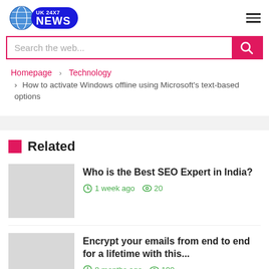UK 24X7 NEWS
Search the web...
Homepage › Technology › How to activate Windows offline using Microsoft's text-based options
Related
Who is the Best SEO Expert in India?
1 week ago  20
Encrypt your emails from end to end for a lifetime with this...
8 months ago  190